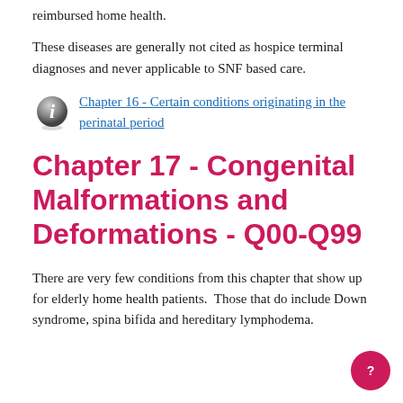reimbursed home health.
These diseases are generally not cited as hospice terminal diagnoses and never applicable to SNF based care.
Chapter 16 - Certain conditions originating in the perinatal period
Chapter 17 - Congenital Malformations and Deformations - Q00-Q99
There are very few conditions from this chapter that show up for elderly home health patients.  Those that do include Down syndrome, spina bifida and hereditary lymphodema.